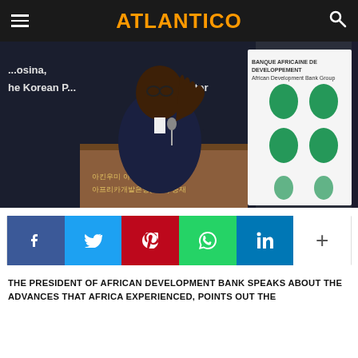ATLANTICO
[Figure (photo): A man in a navy blue suit with a red bow tie speaks at a podium with AfDB logo and Korean text. A banner with African maps is visible in the background. Text on podium reads in Korean: Akinwumi Adesina, President of AfDB.]
[Figure (infographic): Social media share buttons row: Facebook (blue), Twitter (light blue), Pinterest (red), WhatsApp (green), LinkedIn (dark blue), and a plus/more button.]
THE PRESIDENT OF AFRICAN DEVELOPMENT BANK SPEAKS ABOUT THE ADVANCES THAT AFRICA EXPERIENCED, POINTS OUT THE